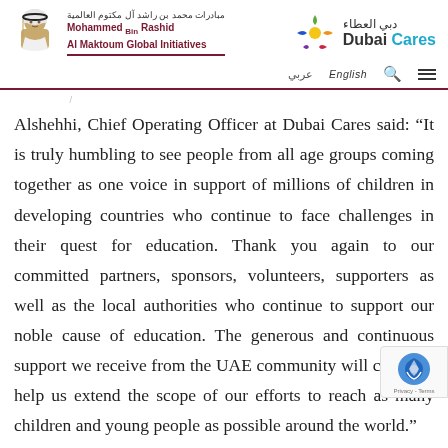Mohammed Bin Rashid Al Maktoum Global Initiatives | Dubai Cares
Alshehhi, Chief Operating Officer at Dubai Cares said: “It is truly humbling to see people from all age groups coming together as one voice in support of millions of children in developing countries who continue to face challenges in their quest for education. Thank you again to our committed partners, sponsors, volunteers, supporters as well as the local authorities who continue to support our noble cause of education. The generous and continuous support we receive from the UAE community will certainly help us extend the scope of our efforts to reach as many children and young people as possible around the world.”
This year’s silver sponsor is Chevron joined by IFFCO as the